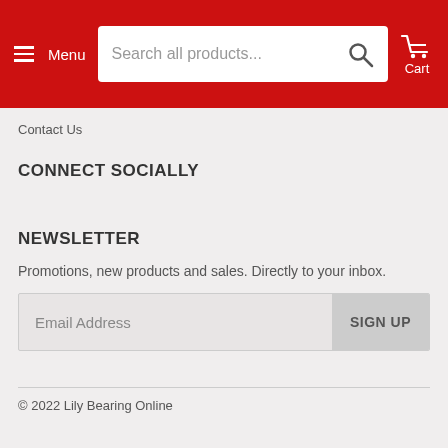Menu  Search all products...  Cart
Contact Us
CONNECT SOCIALLY
NEWSLETTER
Promotions, new products and sales. Directly to your inbox.
Email Address  SIGN UP
© 2022 Lily Bearing Online